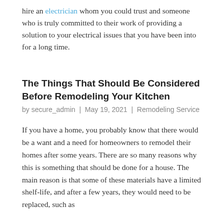hire an electrician whom you could trust and someone who is truly committed to their work of providing a solution to your electrical issues that you have been into for a long time.
The Things That Should Be Considered Before Remodeling Your Kitchen
by secure_admin | May 19, 2021 | Remodeling Service
If you have a home, you probably know that there would be a want and a need for homeowners to remodel their homes after some years. There are so many reasons why this is something that should be done for a house. The main reason is that some of these materials have a limited shelf-life, and after a few years, they would need to be replaced, such as